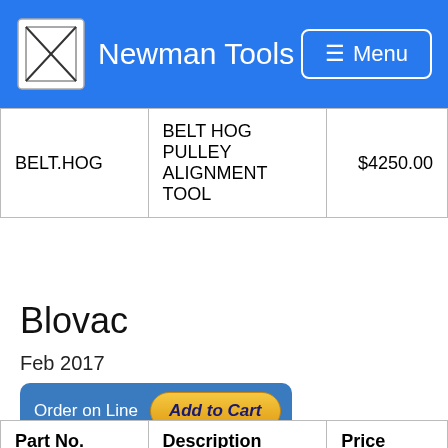Newman Tools  Menu
| BELT.HOG | BELT HOG PULLEY ALIGNMENT TOOL | $4250.00 |
Blovac
Feb 2017
Order on Line  Add to Cart
| Part No. | Description | Price |
| --- | --- | --- |